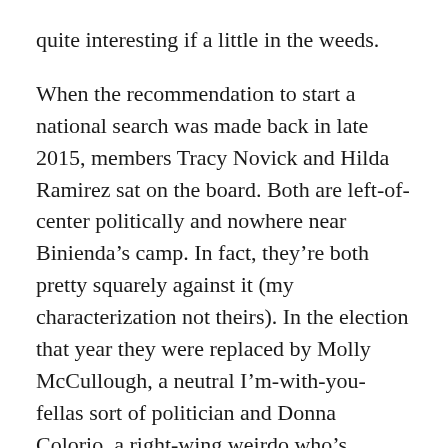quite interesting if a little in the weeds.
When the recommendation to start a national search was made back in late 2015, members Tracy Novick and Hilda Ramirez sat on the board. Both are left-of-center politically and nowhere near Binienda’s camp. In fact, they’re both pretty squarely against it (my characterization not theirs). In the election that year they were replaced by Molly McCullough, a neutral I’m-with-you-fellas sort of politician and Donna Colorio, a right-wing weirdo who’s probably now railing against critical race theory and dabbling in QAnon stuff.
On Jan. 21, 2016, after the inauguration of a new School Committee, in which two of its left-leaning members were replaced by people much more sympathetic to